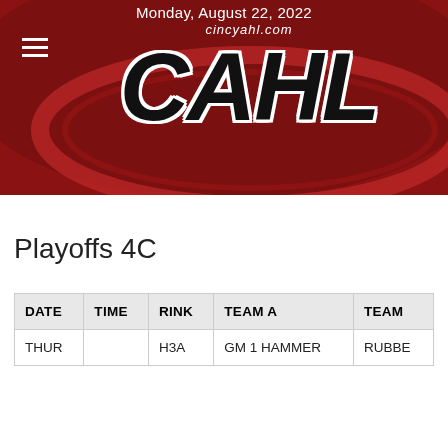Monday, August 22, 2022
[Figure (logo): CAHL cincyahl.com logo — red oval swoosh background with large italic bold black text CAHL and smaller italic white text cincyahl.com above]
Playoffs 4C
| DATE | TIME | RINK | TEAM A | TEAM |
| --- | --- | --- | --- | --- |
| THUR |  | H3A | GM 1 HAMMER | RUBBE |